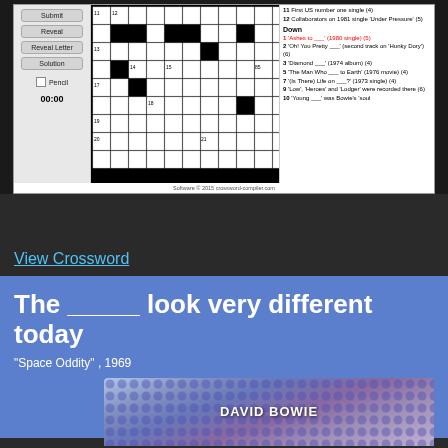[Figure (screenshot): Crossword puzzle interface showing a black and white crossword grid with control buttons (Submit, Reveal, Reveal Letter, Solution, Pencil checkbox, 00:00 timer) on the left, the crossword grid in the center, and clues panel on the right listing Across clues (11, 12) and Down clues (1-10).]
View Crossword
The _____ look very different today
"Space Oddity" , 1969
[Figure (photo): David Bowie album cover with colorful dot pattern background, text 'DAVID BOWIE' visible]